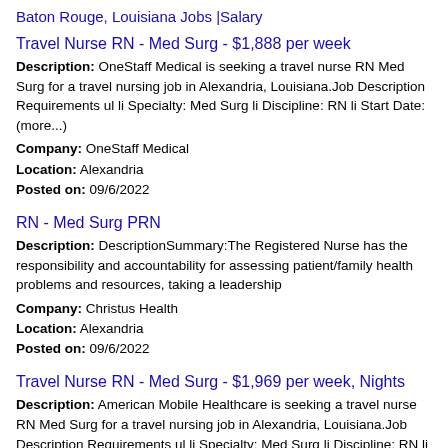Baton Rouge, Louisiana Jobs |Salary
Travel Nurse RN - Med Surg - $1,888 per week
Description: OneStaff Medical is seeking a travel nurse RN Med Surg for a travel nursing job in Alexandria, Louisiana.Job Description Requirements ul li Specialty: Med Surg li Discipline: RN li Start Date: (more...) Company: OneStaff Medical Location: Alexandria Posted on: 09/6/2022
RN - Med Surg PRN
Description: DescriptionSummary:The Registered Nurse has the responsibility and accountability for assessing patient/family health problems and resources, taking a leadership Company: Christus Health Location: Alexandria Posted on: 09/6/2022
Travel Nurse RN - Med Surg - $1,969 per week, Nights
Description: American Mobile Healthcare is seeking a travel nurse RN Med Surg for a travel nursing job in Alexandria, Louisiana.Job Description Requirements ul li Specialty: Med Surg li Discipline: RN li (more...)